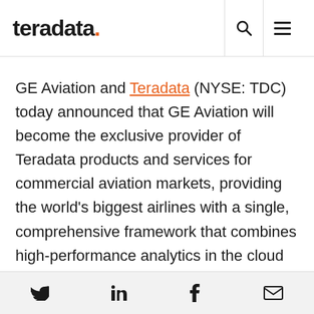teradata.
GE Aviation and Teradata (NYSE: TDC) today announced that GE Aviation will become the exclusive provider of Teradata products and services for commercial aviation markets, providing the world's biggest airlines with a single, comprehensive framework that combines high-performance analytics in the cloud from Teradata with edge-connectivity services from GE Aviation.
Twitter, LinkedIn, Facebook, Email social share icons